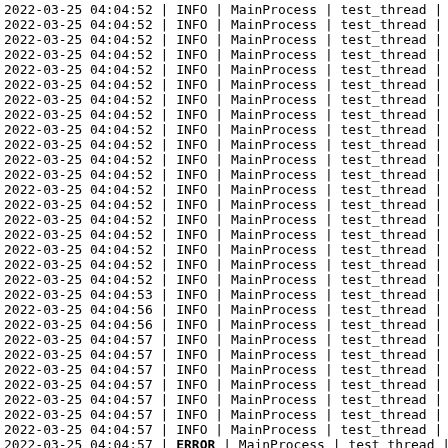2022-03-25 04:04:52 | INFO  | MainProcess | test_thread |
2022-03-25 04:04:52 | INFO  | MainProcess | test_thread |
2022-03-25 04:04:52 | INFO  | MainProcess | test_thread |
2022-03-25 04:04:52 | INFO  | MainProcess | test_thread |
2022-03-25 04:04:52 | INFO  | MainProcess | test_thread |
2022-03-25 04:04:52 | INFO  | MainProcess | test_thread |
2022-03-25 04:04:52 | INFO  | MainProcess | test_thread |
2022-03-25 04:04:52 | INFO  | MainProcess | test_thread |
2022-03-25 04:04:52 | INFO  | MainProcess | test_thread |
2022-03-25 04:04:52 | INFO  | MainProcess | test_thread |
2022-03-25 04:04:52 | INFO  | MainProcess | test_thread |
2022-03-25 04:04:52 | INFO  | MainProcess | test_thread |
2022-03-25 04:04:52 | INFO  | MainProcess | test_thread |
2022-03-25 04:04:52 | INFO  | MainProcess | test_thread |
2022-03-25 04:04:52 | INFO  | MainProcess | test_thread |
2022-03-25 04:04:52 | INFO  | MainProcess | test_thread |
2022-03-25 04:04:52 | INFO  | MainProcess | test_thread |
2022-03-25 04:04:52 | INFO  | MainProcess | test_thread |
2022-03-25 04:04:52 | INFO  | MainProcess | test_thread |
2022-03-25 04:04:53 | INFO  | MainProcess | test_thread |
2022-03-25 04:04:56 | INFO  | MainProcess | test_thread |
2022-03-25 04:04:56 | INFO  | MainProcess | test_thread |
2022-03-25 04:04:57 | INFO  | MainProcess | test_thread |
2022-03-25 04:04:57 | INFO  | MainProcess | test_thread |
2022-03-25 04:04:57 | INFO  | MainProcess | test_thread |
2022-03-25 04:04:57 | INFO  | MainProcess | test_thread |
2022-03-25 04:04:57 | INFO  | MainProcess | test_thread |
2022-03-25 04:04:57 | INFO  | MainProcess | test_thread |
2022-03-25 04:04:57 | INFO  | MainProcess | test_thread |
2022-03-25 04:04:57 | ERROR | MainProcess | test_thread |